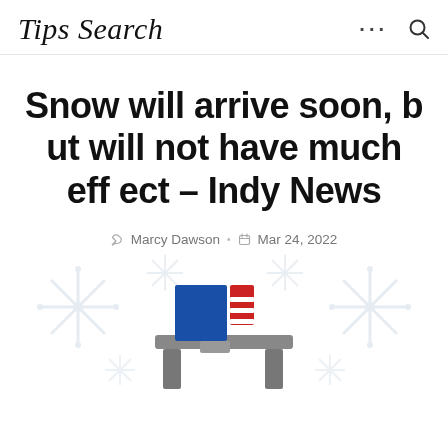Tips Search
Snow will arrive soon, but will not have much effect – Indy News
Marcy Dawson • Mar 24, 2022
[Figure (illustration): Snowflake decorative background with a news anchor desk illustration featuring blue, red, and gray elements in the foreground]